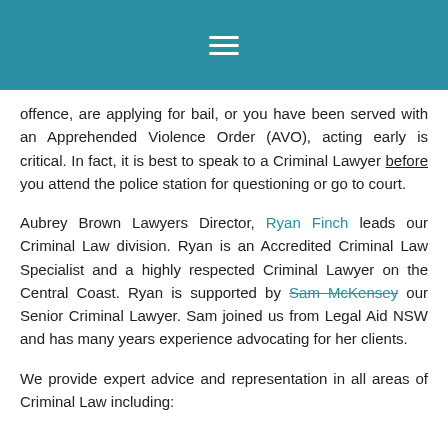≡ (navigation menu icon)
offence, are applying for bail, or you have been served with an Apprehended Violence Order (AVO), acting early is critical. In fact, it is best to speak to a Criminal Lawyer before you attend the police station for questioning or go to court.
Aubrey Brown Lawyers Director, Ryan Finch leads our Criminal Law division. Ryan is an Accredited Criminal Law Specialist and a highly respected Criminal Lawyer on the Central Coast. Ryan is supported by Sam McKensey our Senior Criminal Lawyer. Sam joined us from Legal Aid NSW and has many years experience advocating for her clients.
We provide expert advice and representation in all areas of Criminal Law including: